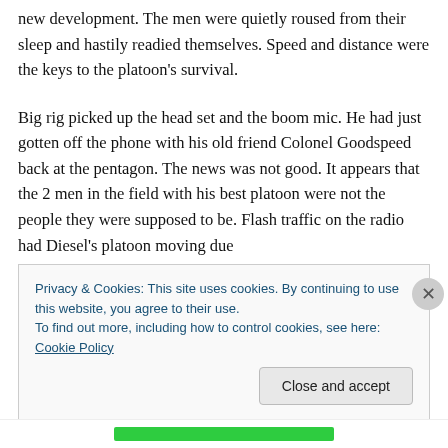new development. The men were quietly roused from their sleep and hastily readied themselves. Speed and distance were the keys to the platoon's survival.
Big rig picked up the head set and the boom mic. He had just gotten off the phone with his old friend Colonel Goodspeed back at the pentagon. The news was not good. It appears that the 2 men in the field with his best platoon were not the people they were supposed to be. Flash traffic on the radio had Diesel's platoon moving due
Privacy & Cookies: This site uses cookies. By continuing to use this website, you agree to their use.
To find out more, including how to control cookies, see here: Cookie Policy